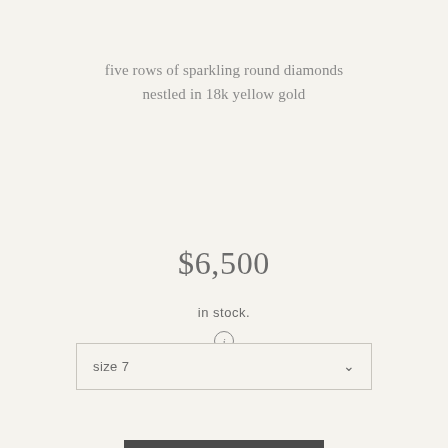five rows of sparkling round diamonds nestled in 18k yellow gold
$6,500
in stock.
size 7